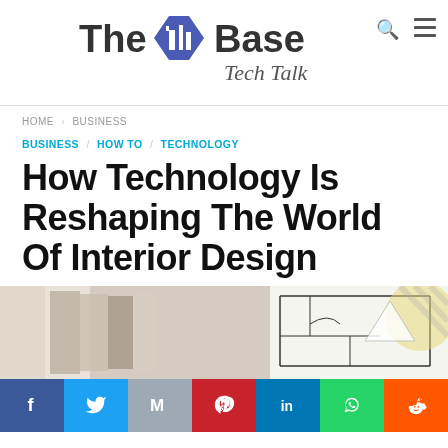[Figure (logo): The IT Base Tech Talk logo with hexagon icon]
HOME > BUSINESS
BUSINESS / HOW TO / TECHNOLOGY
How Technology Is Reshaping The World Of Interior Design
[Figure (photo): Interior design mood board with fabric swatches and architectural floor plan drawings]
Social share buttons: Facebook, Twitter, Gmail, Pinterest, LinkedIn, WhatsApp, Reddit